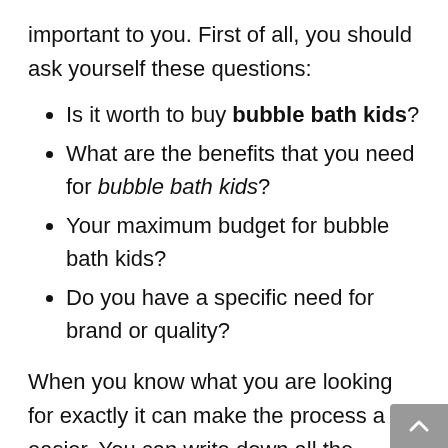important to you. First of all, you should ask yourself these questions:
Is it worth to buy bubble bath kids?
What are the benefits that you need for bubble bath kids?
Your maximum budget for bubble bath kids?
Do you have a specific need for brand or quality?
When you know what you are looking for exactly it can make the process a lot easier. You can write down all the aspects that are important for you when it comes to searching for bubble bath kids. It will make the process of searching a lot quicker and more sufficient. Note that there is no need to hurry